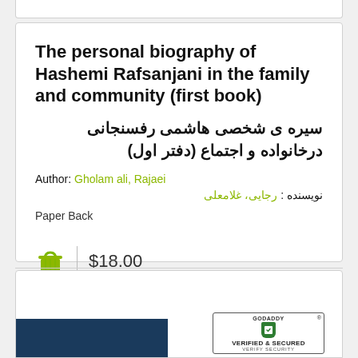The personal biography of Hashemi Rafsanjani in the family and community (first book)
سیره ی شخصی هاشمی رفسنجانی درخانواده و اجتماع (دفتر اول)
Author: Gholam ali, Rajaei
نویسنده: رجایی، غلامعلی
Paper Back
$18.00